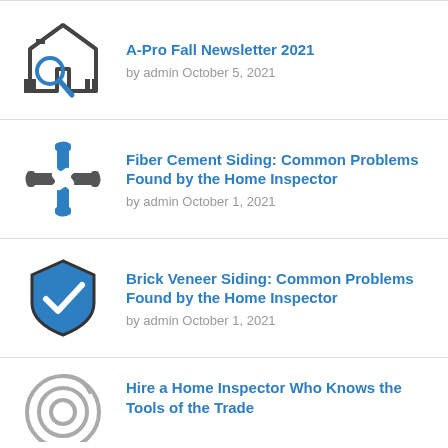[Figure (illustration): House with magnifying glass icon, dark gray]
A-Pro Fall Newsletter 2021
by admin October 5, 2021
[Figure (illustration): Four hands reaching together icon, blue and gray]
Fiber Cement Siding: Common Problems Found by the Home Inspector
by admin October 1, 2021
[Figure (illustration): Shield with checkmark icon, blue and dark gray]
Brick Veneer Siding: Common Problems Found by the Home Inspector
by admin October 1, 2021
[Figure (illustration): Circular target/eye icon, gray, partially visible]
Hire a Home Inspector Who Knows the Tools of the Trade